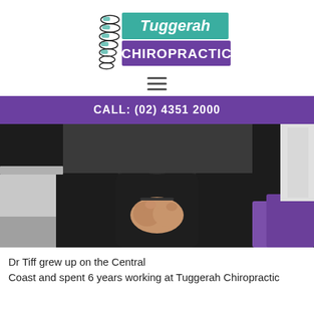[Figure (logo): Tuggerah Chiropractic logo with spine illustration, teal and purple colors]
[Figure (other): Hamburger menu icon (three horizontal lines)]
CALL: (02) 4351 2000
[Figure (photo): Person wearing black clothing with hands clasped in front, standing in a chiropractic office setting]
Dr Tiff grew up on the Central Coast and spent 6 years working at Tuggerah Chiropractic